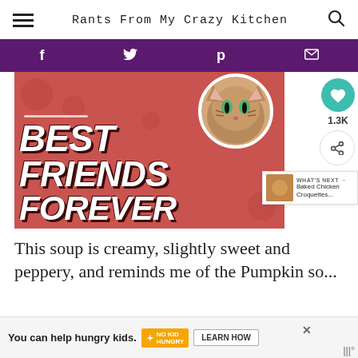Rants From My Crazy Kitchen
[Figure (infographic): Social media share bar with purple background showing Facebook, Twitter, Pinterest, and email icons]
[Figure (illustration): Best Friends Forever graphic with cat photo and bold italic white text on pink/red background]
This soup is creamy, slightly sweet and peppery, and reminds me of the Pumpkin so...
[Figure (infographic): Advertisement banner: You can help hungry kids. No Kid Hungry. LEARN HOW]